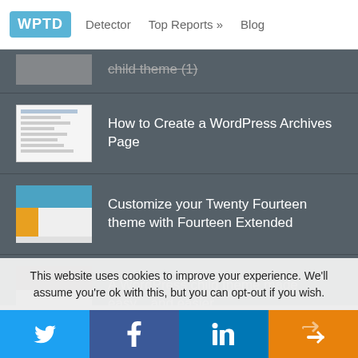WPTD | Detector | Top Reports » | Blog
child theme (1)
How to Create a WordPress Archives Page
Customize your Twenty Fourteen theme with Fourteen Extended
A WordPress child theme made easy... and easier
Adding a screenshot for a WordPress child theme
This website uses cookies to improve your experience. We'll assume you're ok with this, but you can opt-out if you wish.